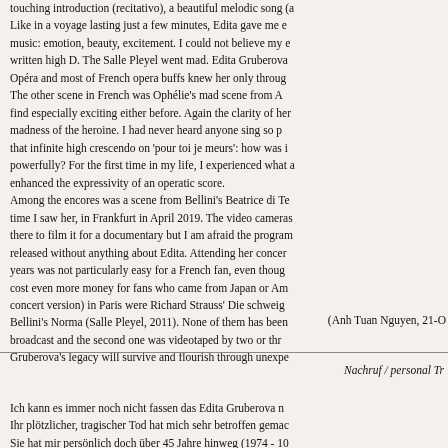touching introduction (recitativo), a beautiful melodic song (a... Like in a voyage lasting just a few minutes, Edita gave me e... music: emotion, beauty, excitement. I could not believe my e... written high D. The Salle Pleyel went mad. Edita Gruberova... Opéra and most of French opera buffs knew her only throug... The other scene in French was Ophélie's mad scene from A... find especially exciting either before. Again the clarity of her... madness of the heroine. I had never heard anyone sing so p... that infinite high crescendo on 'pour toi je meurs': how was i... powerfully? For the first time in my life, I experienced what a... enhanced the expressivity of an operatic score. Among the encores was a scene from Bellini's Beatrice di Te... time I saw her, in Frankfurt in April 2019. The video cameras... there to film it for a documentary but I am afraid the program... released without anything about Edita. Attending her concer... years was not particularly easy for a French fan, even thoug... cost even more money for fans who came from Japan or Am... concert version) in Paris were Richard Strauss' Die schweig... Bellini's Norma (Salle Pleyel, 2011). None of them has been... broadcast and the second one was videotaped by two or thr... Gruberova's legacy will survive and flourish through unexpe...
(Anh Tuan Nguyen, 21-O...
Nachruf / personal Tr...
Ich kann es immer noch nicht fassen das Edita Gruberova n... Ihr plötzlicher, tragischer Tod hat mich sehr betroffen gemac... Sie hat mir persönlich doch über 45 Jahre hinweg (1974 - 10...